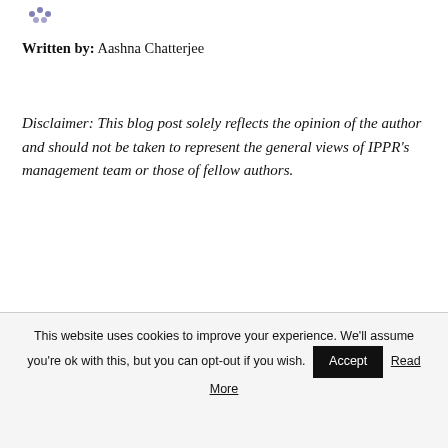[Figure (logo): Small decorative logo/icon in blue/purple at top left]
Written by: Aashna Chatterjee
Disclaimer: This blog post solely reflects the opinion of the author and should not be taken to represent the general views of IPPR's management team or those of fellow authors.
This website uses cookies to improve your experience. We'll assume you're ok with this, but you can opt-out if you wish. Accept Read More